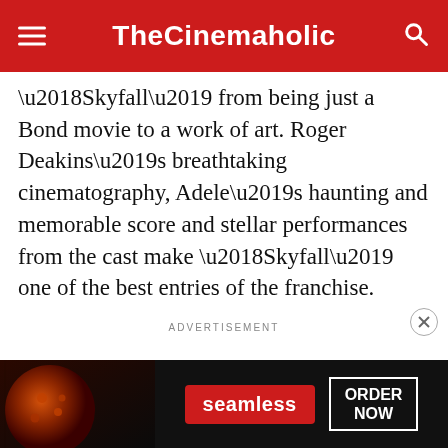TheCinemaholic
‘Skyfall’ from being just a Bond movie to a work of art. Roger Deakins’s breathtaking cinematography, Adele’s haunting and memorable score and stellar performances from the cast make ‘Skyfall’ one of the best entries of the franchise.
ADVERTISEMENT
[Figure (photo): Seamless food delivery advertisement banner showing pizza image on left, Seamless logo in red badge, and ORDER NOW button on dark background]